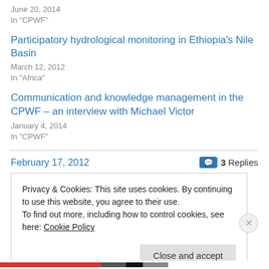June 20, 2014
In "CPWF"
Participatory hydrological monitoring in Ethiopia's Nile Basin
March 12, 2012
In "Africa"
Communication and knowledge management in the CPWF – an interview with Michael Victor
January 4, 2014
In "CPWF"
February 17, 2012
3 Replies
Privacy & Cookies: This site uses cookies. By continuing to use this website, you agree to their use.
To find out more, including how to control cookies, see here: Cookie Policy
Close and accept